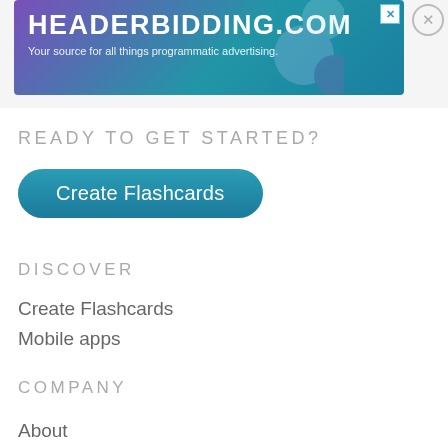[Figure (screenshot): Advertisement banner for headerbidding.com with teal/purple gradient background, large white bold text 'HEADERBIDDING.COM' and subtitle 'Your source for all things programmatic advertising.']
READY TO GET STARTED?
[Figure (other): Teal rounded button labeled 'Create Flashcards']
DISCOVER
Create Flashcards
Mobile apps
COMPANY
About
FAQ